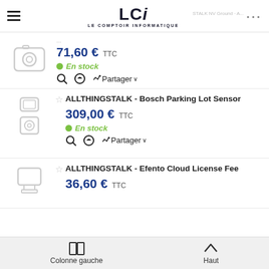LCI - LE COMPTOIR INFORMATIQUE
71,60 € TTC
En stock
Partager
ALLTHINGSTALK - Bosch Parking Lot Sensor
309,00 € TTC
En stock
Partager
ALLTHINGSTALK - Efento Cloud License Fee
36,60 € TTC
Colonne gauche   Haut